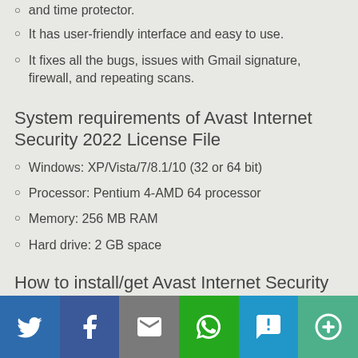and time protector.
It has user-friendly interface and easy to use.
It fixes all the bugs, issues with Gmail signature, firewall, and repeating scans.
System requirements of Avast Internet Security 2022 License File
Windows: XP/Vista/7/8.1/10 (32 or 64 bit)
Processor: Pentium 4-AMD 64 processor
Memory: 256 MB RAM
Hard drive: 2 GB space
How to install/get Avast Internet Security 2022 License File
[Figure (infographic): Social sharing bar with icons for Twitter, Facebook, Email, WhatsApp, SMS, and More]